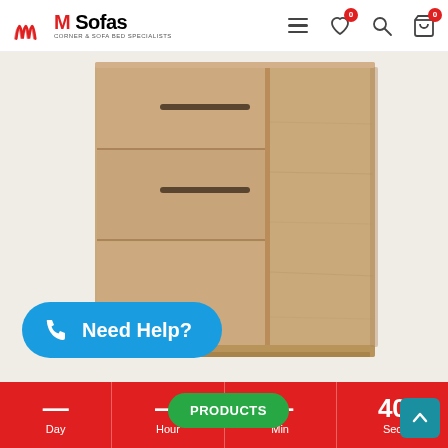M Sofas — Corner & Sofa Bed Specialists
[Figure (photo): A wooden cabinet/wardrobe with sliding doors in a light oak finish, featuring two drawers with dark bar handles on the left side and a full-height door on the right side, on a white background.]
Need Help?
PRODUCTS
40
Day  Hour  Min  Sec